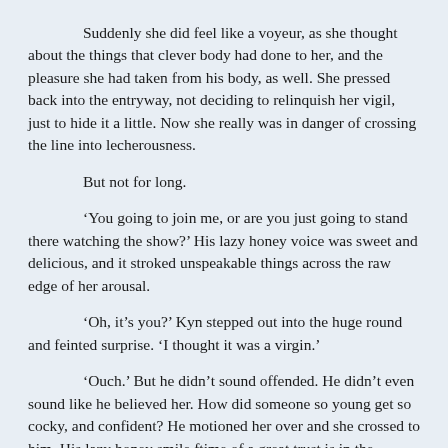Suddenly she did feel like a voyeur, as she thought about the things that clever body had done to her, and the pleasure she had taken from his body, as well. She pressed back into the entryway, not deciding to relinquish her vigil, just to hide it a little. Now she really was in danger of crossing the line into lecherousness.
But not for long.
‘You going to join me, or are you just going to stand there watching the show?’ His lazy honey voice was sweet and delicious, and it stroked unspeakable things across the raw edge of her arousal.
‘Oh, it’s you?’ Kyn stepped out into the huge round and feinted surprise. ‘I thought it was a virgin.’
‘Ouch.’ But he didn’t sound offended. He didn’t even sound like he believed her. How did someone so young get so cocky, and confident? He motioned her over and she crossed to him. His lazy honey smile ftime of a great trust is in the